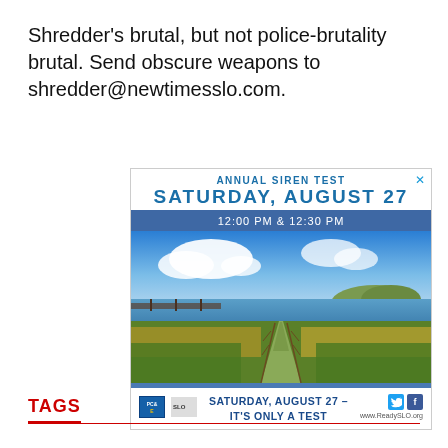Shredder's brutal, but not police-brutality brutal. Send obscure weapons to shredder@newtimesslo.com.
[Figure (infographic): Advertisement for Annual Siren Test, Saturday August 27, 12:00 PM & 12:30 PM. Features a landscape photo of a coastal wetland with blue sky. Bottom reads: Saturday, August 27 – It's Only a Test. Sponsored by PG&E and ReadySLO.org.]
TAGS